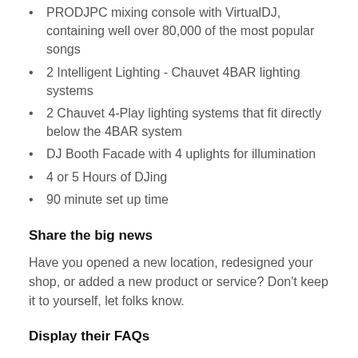PRODJPC mixing console with VirtualDJ, containing well over 80,000 of the most popular songs
2 Intelligent Lighting - Chauvet 4BAR lighting systems
2 Chauvet 4-Play lighting systems that fit directly below the 4BAR system
DJ Booth Facade with 4 uplights for illumination
4 or 5 Hours of DJing
90 minute set up time
Share the big news
Have you opened a new location, redesigned your shop, or added a new product or service? Don't keep it to yourself, let folks know.
Display their FAQs